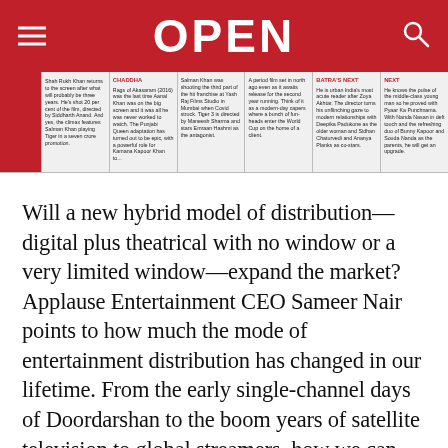OPEN
[Figure (screenshot): Navigation strip with article thumbnails and headlines including sections: Shah Rukh Khan, CHADDHA, Salman Khan Covid shoot at Yash Raj Films Studio, A period film set in a match, BATRA'S NEXT, NEXT]
Will a new hybrid model of distribution—digital plus theatrical with no window or a very limited window—expand the market? Applause Entertainment CEO Sameer Nair points to how much the mode of entertainment distribution has changed in our lifetime. From the early single-channel days of Doordarshan to the boom years of satellite television to global streamers, how we can and will consume content has changed. "This in